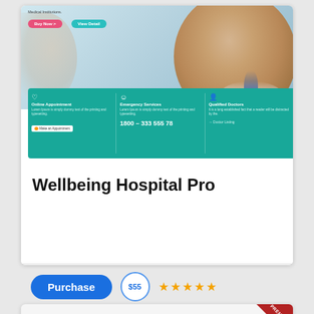[Figure (screenshot): Wellbeing Hospital Pro WordPress theme screenshot showing a medical website with a doctor's smiling face, online appointment, emergency services, and qualified doctors sections on a teal info bar]
Wellbeing Hospital Pro
Purchase  $55  ★★★★★
[Figure (screenshot): Log Book Pro - A WordPress Theme For Blogger, with PREMIUM banner in top-right corner and navigation bar at bottom]